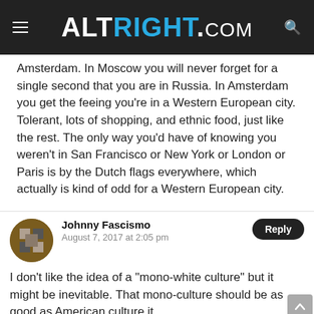ALTRIGHT.COM
Amsterdam. In Moscow you will never forget for a single second that you are in Russia. In Amsterdam you get the feeing you’re in a Western European city. Tolerant, lots of shopping, and ethnic food, just like the rest. The only way you’d have of knowing you weren’t in San Francisco or New York or London or Paris is by the Dutch flags everywhere, which actually is kind of odd for a Western European city.
Johnny Fascismo
August 7, 2017 at 2:05 pm
I don’t like the idea of a “mono-white culture” but it might be inevitable. That mono-culture should be as good as American culture it